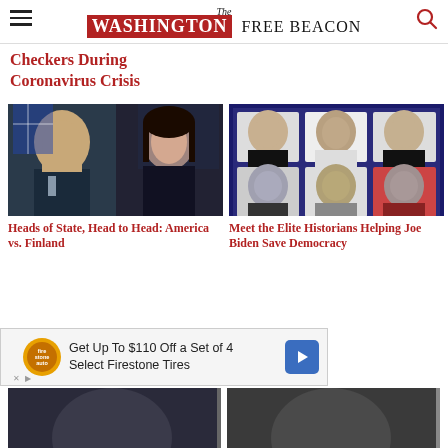The WASHINGTON FREE BEACON
Checkers During Coronavirus Crisis
[Figure (photo): Side-by-side photo of Joe Biden speaking and a young woman with dark hair]
Heads of State, Head to Head: America vs. Finland
[Figure (photo): Grid of six portraits of elite historians, three on top row and three on bottom row, on blue background]
Meet the Elite Historians Helping Joe Biden Save Democracy
Get Up To $110 Off a Set of 4 Select Firestone Tires
[Figure (photo): Partial bottom-left photo]
[Figure (photo): Partial bottom-right photo]